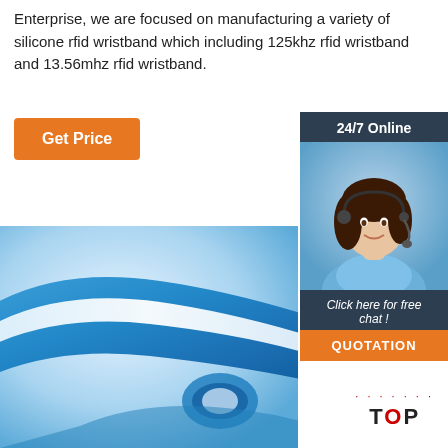Enterprise, we are focused on manufacturing a variety of silicone rfid wristband which including 125khz rfid wristband and 13.56mhz rfid wristband.
[Figure (other): Orange 'Get Price' button]
[Figure (other): Sidebar widget with '24/7 Online' header, customer service representative photo, 'Click here for free chat!' text, and 'QUOTATION' orange button]
[Figure (photo): Close-up photo of a blue silicone RFID wristband on a white background]
[Figure (other): TOP badge with red dots above it in bottom right corner]